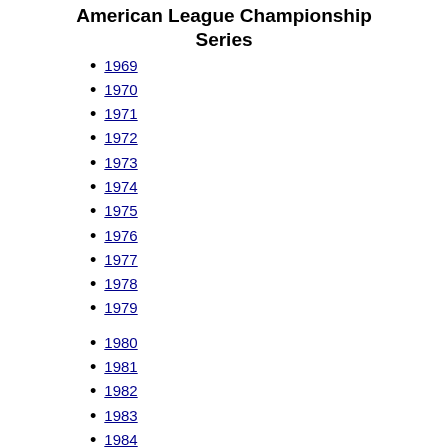American League Championship Series
1969
1970
1971
1972
1973
1974
1975
1976
1977
1978
1979
1980
1981
1982
1983
1984
1985
1986
1987
1988
1989
1990